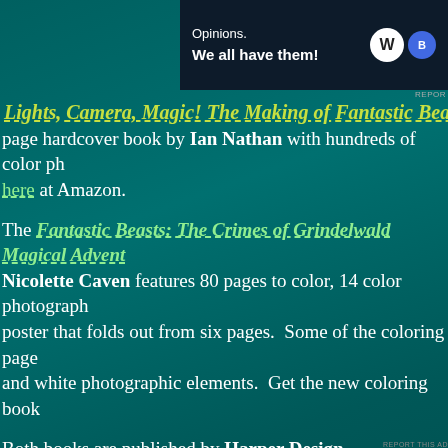[Figure (screenshot): WordPress.com advertisement banner with text 'Opinions. We all have them!' on dark navy background with WordPress and another logo]
Lights, Camera, Magic! The Making of Fantastic Beasts: The Crimes of Grindelwald — page hardcover book by Ian Nathan with hundreds of color photographs. here at Amazon.
The Fantastic Beasts: The Crimes of Grindelwald Magical Adventures Coloring Book by Nicolette Caven features 80 pages to color, 14 color photographs, and a fold-out poster that folds out from six pages. Some of the coloring pages incorporate black and white photographic elements. Get the new coloring book
Both books are published by Harper Design.
Advertisements
[Figure (screenshot): Pressable advertisement with logo and dotted line]
Advertisements
[Figure (screenshot): Day One journaling app advertisement: 'The only journaling app you'll ever need.']